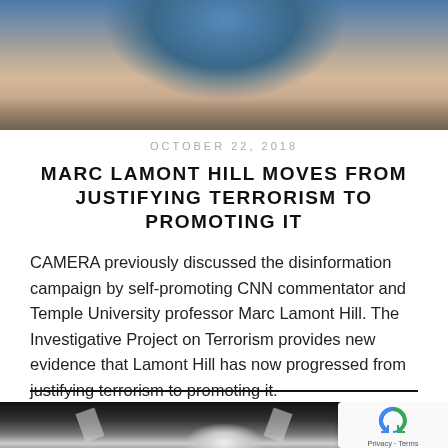[Figure (photo): Top portion of a man's face and upper body wearing a dark suit, cropped showing from chest up against a blue background]
OCTOBER 22, 2018
MARC LAMONT HILL MOVES FROM JUSTIFYING TERRORISM TO PROMOTING IT
CAMERA previously discussed the disinformation campaign by self-promoting CNN commentator and Temple University professor Marc Lamont Hill. The Investigative Project on Terrorism provides new evidence that Lamont Hill has now progressed from justifying terrorism to promoting it.
[Figure (photo): Bottom portion of page showing a partially visible outdoor scene with a figure in white, hands raised, dark background. A reCAPTCHA widget overlay appears in the bottom right corner with Privacy · Terms text.]